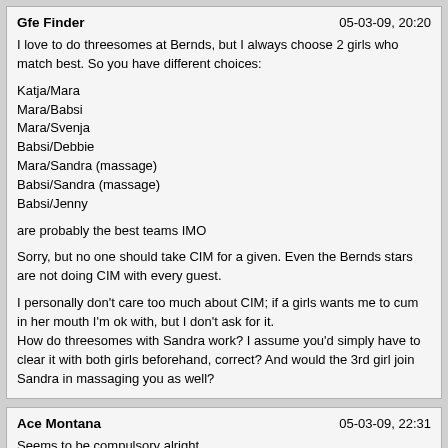Gfe Finder | 05-03-09, 20:20
I love to do threesomes at Bernds, but I always choose 2 girls who match best. So you have different choices:

Katja/Mara
Mara/Babsi
Mara/Svenja
Babsi/Debbie
Mara/Sandra (massage)
Babsi/Sandra (massage)
Babsi/Jenny

are probably the best teams IMO

Sorry, but no one should take CIM for a given. Even the Bernds stars are not doing CIM with every guest.

I personally don't care too much about CIM; if a girls wants me to cum in her mouth I'm ok with, but I don't ask for it.
How do threesomes with Sandra work? I assume you'd simply have to clear it with both girls beforehand, correct? And would the 3rd girl join Sandra in massaging you as well?
Ace Montana | 05-03-09, 22:31
Seems to be compulsory alright.

Here's a quote from "another place".

"There are several rules in this club for the women. The most hated of which is that they have to wear high heels at all times. Since most of them work 11 hour shifts, they often complain privately about hurting feet. "How are high heels defined?

Mara and Babsi often wear shoes with only small heels (approx. 3 cm). Djamila